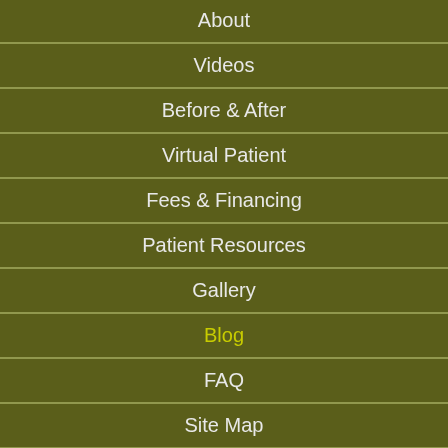About
Videos
Before & After
Virtual Patient
Fees & Financing
Patient Resources
Gallery
Blog
FAQ
Site Map
FTM Procedures
- Body Contouring